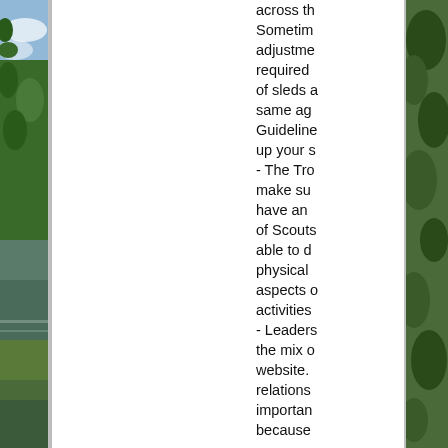[Figure (photo): Photograph of a natural landscape with trees, water, and sky — left border strip]
[Figure (photo): Photograph of trees and foliage — right border strip]
across th… Sometimes adjustments required of sleds a… same ag… Guidelines up your s… - The Tro… make su… have an of Scouts able to d… physical aspects o… activities - Leaders the mix o… website. relations importan… because